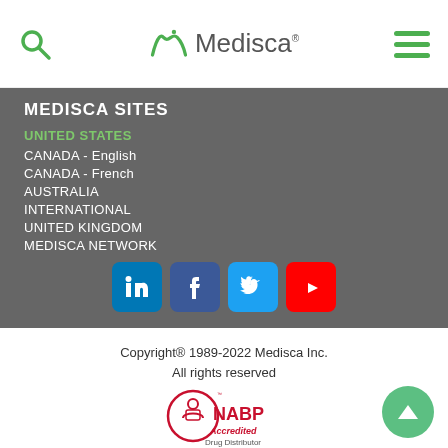[Figure (logo): Medisca logo with search icon and hamburger menu in top navigation bar]
MEDISCA SITES
UNITED STATES
CANADA - English
CANADA - French
AUSTRALIA
INTERNATIONAL
UNITED KINGDOM
MEDISCA NETWORK
[Figure (illustration): Social media icons: LinkedIn, Facebook, Twitter, YouTube]
Copyright® 1989-2022 Medisca Inc.
All rights reserved
[Figure (logo): NABP Accredited Drug Distributor badge/seal]